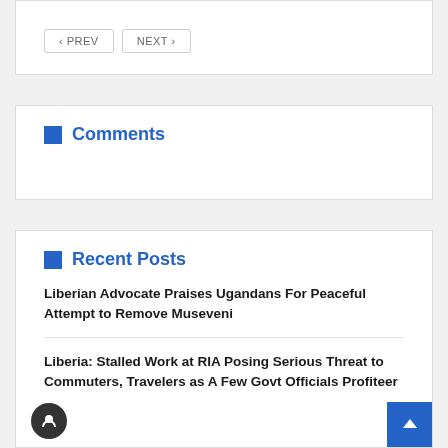< PREV   NEXT >
Comments
Recent Posts
Liberian Advocate Praises Ugandans For Peaceful Attempt to Remove Museveni
Liberia: Stalled Work at RIA Posing Serious Threat to Commuters, Travelers as A Few Govt Officials Profiteer